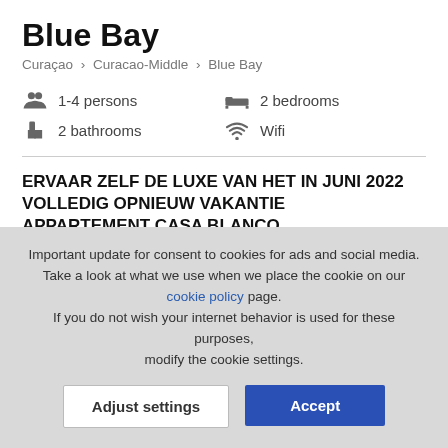Blue Bay
Curaçao › Curacao-Middle › Blue Bay
1-4 persons
2 bedrooms
2 bathrooms
Wifi
ERVAAR ZELF DE LUXE VAN HET IN JUNI 2022 VOLLEDIG OPNIEUW VAKANTIE APPARTEMENT CASA BLANCO
Important update for consent to cookies for ads and social media. Take a look at what we use when we place the cookie on our cookie policy page. If you do not wish your internet behavior is used for these purposes, modify the cookie settings.
Adjust settings
Accept